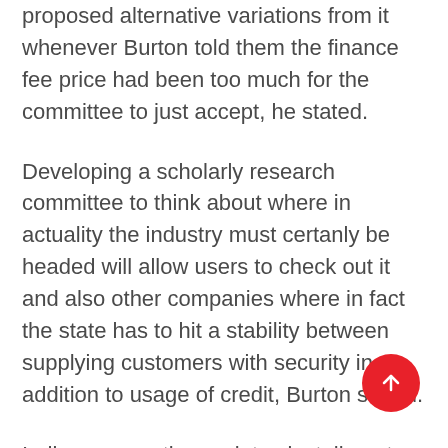proposed alternative variations from it whenever Burton told them the finance fee price had been too much for the committee to just accept, he stated.
Developing a scholarly research committee to think about where in actuality the industry must certanly be headed will allow users to check out it and also other companies where in fact the state has to hit a stability between supplying customers with security in addition to usage of credit, Burton stated.
Indiana currently regulates installment that is small financing and caps the yearly price on those loans at 36 %. This gives the summertime research committee the